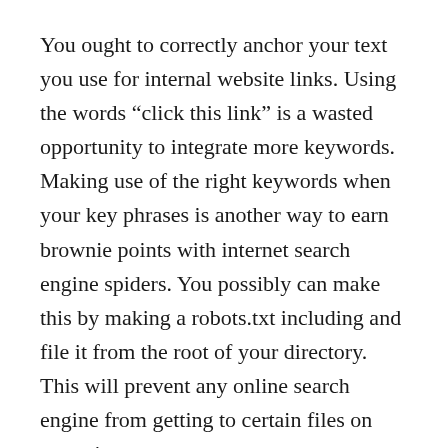You ought to correctly anchor your text you use for internal website links. Using the words “click this link” is a wasted opportunity to integrate more keywords. Making use of the right keywords when your key phrases is another way to earn brownie points with internet search engine spiders. You possibly can make this by making a robots.txt including and file it from the root of your directory. This will prevent any online search engine from getting to certain files on your site.
Employing a product feed can really help draw traffic and business for your site. Feeds can contain specifics of your small business such as descriptions, prices and costs. Submit them to sites which compare costs and